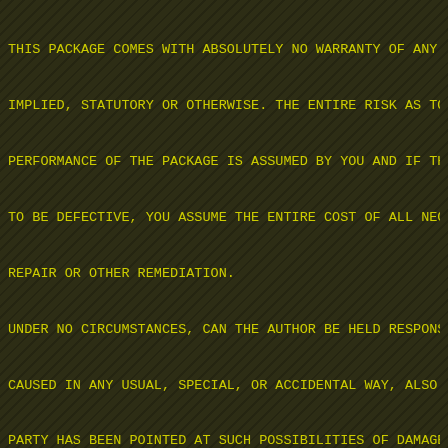THIS PACKAGE COMES WITH ABSOLUTELY NO WARRANTY OF ANY K
IMPLIED, STATUTORY OR OTHERWISE. THE ENTIRE RISK AS TO
PERFORMANCE OF THE PACKAGE IS ASSUMED BY YOU AND IF THE
TO BE DEFECTIVE, YOU ASSUME THE ENTIRE COST OF ALL NECE
REPAIR OR OTHER REMEDIATION.
UNDER NO CIRCUMSTANCES, CAN THE AUTHOR BE HELD RESPONSI
CAUSED IN ANY USUAL, SPECIAL, OR ACCIDENTAL WAY, ALSO I
PARTY HAS BEEN POINTED AT SUCH POSSIBILITIES OF DAMAGE.
This install applies to "Megademo 4 a.k.a. Demo Disk 4"
Requirements:
--------------
This install requires WHDLoad to be in the path.
To install from a different drive than DF0: select inst
The installed demo requires 0.5 MB ChipMem (+0.3 MB Oth
It can be quit by pressing Del (key can be changed with
Features:
----------
- Full load from HD
- OS stuff patched
- Self-modifying code fixed
- Blitter waits added (x3)
- DMA wait in replayer fixed (x4)
- Byte write to volume register fixed (x8)
- Interrupts and DMA settings fixed
- OCS only DDFSTRT/ fixed (x2)
- Bales2sales bit fix...